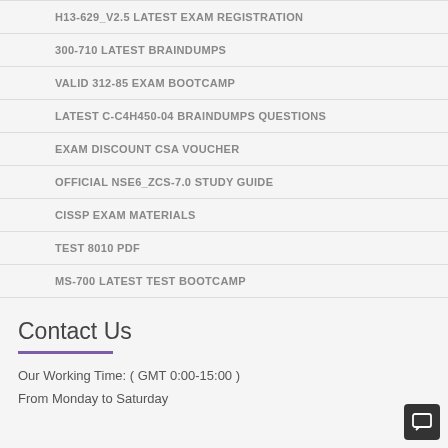H13-629_V2.5 LATEST EXAM REGISTRATION
300-710 LATEST BRAINDUMPS
VALID 312-85 EXAM BOOTCAMP
LATEST C-C4H450-04 BRAINDUMPS QUESTIONS
EXAM DISCOUNT CSA VOUCHER
OFFICIAL NSE6_ZCS-7.0 STUDY GUIDE
CISSP EXAM MATERIALS
TEST 8010 PDF
MS-700 LATEST TEST BOOTCAMP
Contact Us
Our Working Time: ( GMT 0:00-15:00 )
From Monday to Saturday